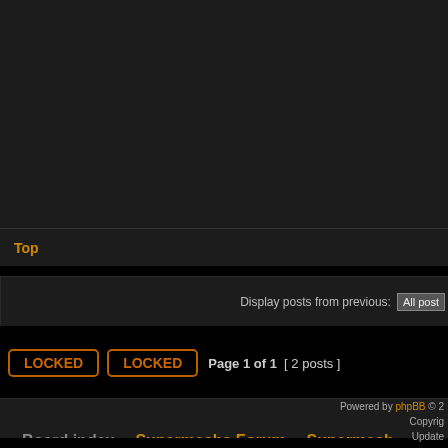Get a medal - 1/1
Finish a week in top 10
Finish a week in top 50
Get 200+ mythicals - 200+/200
Top
Display posts from previous: All post
LOCKED  LOCKED  Page 1 of 1  [ 2 posts ]
Board index » Supermechs Forum » Supermech
Powered by phpBB © 2 Copyright Update